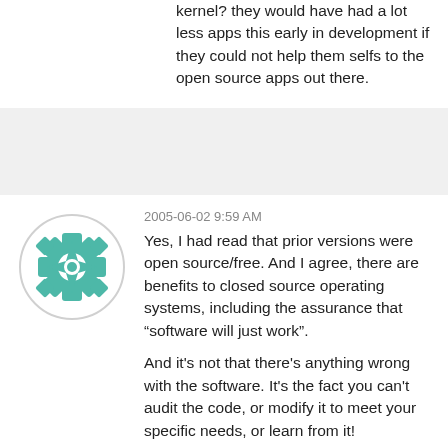kernel? they would have had a lot less apps this early in development if they could not help them selfs to the open source apps out there.
2005-06-02 9:59 AM
[Figure (illustration): Circular avatar icon with a teal/green geometric mandala-like pattern on white background with a light gray circle border]
Yes, I had read that prior versions were open source/free. And I agree, there are benefits to closed source operating systems, including the assurance that “software will just work”.

And it's not that there's anything wrong with the software. It's the fact you can't audit the code, or modify it to meet your specific needs, or learn from it!

Windows is a good example of this. There's tons of great software available for it. Microsoft offers an expansive API for developers to utilize. But, unfortunately, it's closed source. You can't audit the code and